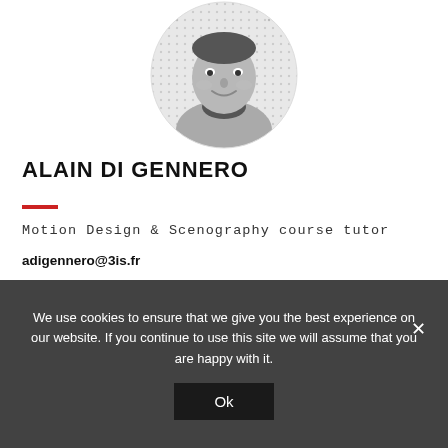[Figure (photo): Black and white circular portrait photo of Alain Di Gennero, a middle-aged man smiling, wearing a patterned scarf and sweater, against a dotted background.]
ALAIN DI GENNERO
Motion Design & Scenography course tutor
adigennero@3is.fr
We use cookies to ensure that we give you the best experience on our website. If you continue to use this site we will assume that you are happy with it.
Ok